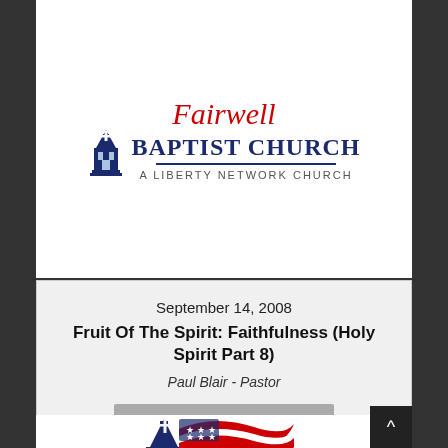[Figure (logo): Fairwell Baptist Church logo - A Liberty Network Church, with church steeple icon and red script lettering on top, navy blue bold text BAPTIST CHURCH below, underline, and subtitle A LIBERTY NETWORK CHURCH]
September 14, 2008
Fruit Of The Spirit: Faithfulness (Holy Spirit Part 8)
Paul Blair - Pastor
[Figure (other): Watch button - grey rectangular button with text Watch]
[Figure (logo): Second church logo - church steeple with American flag and red script lettering, partially visible at bottom of page]